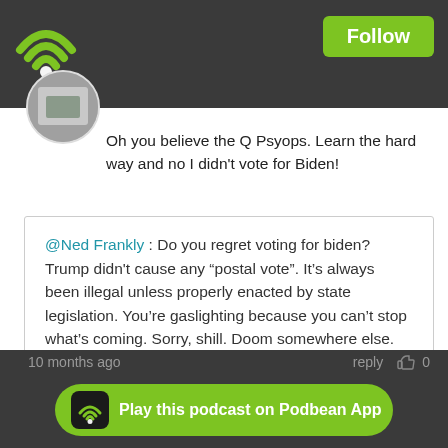[Figure (screenshot): Podbean podcast app screenshot showing comments section with top navigation bar featuring WiFi/Podbean logo and Follow button]
Oh you believe the Q Psyops. Learn the hard way and no I didn't vote for Biden!
@Ned Frankly : Do you regret voting for biden? Trump didn't cause any “postal vote”. It’s always been illegal unless properly enacted by state legislation. You’re gaslighting because you can’t stop what’s coming. Sorry, shill. Doom somewhere else.
10 months ago
reply  0
Jim Dandy
Any links from dr loves interview yesterday
Play this podcast on Podbean App